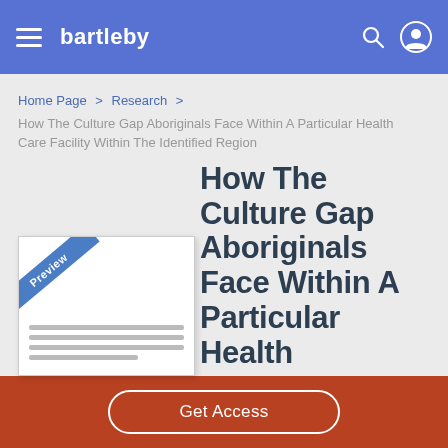bartleby
Home Page > Research > How The Culture Gap Aboriginals Face Within A Particular Health Care Facility Within The Identified Region
How The Culture Gap Aboriginals Face Within A Particular Health
[Figure (other): Preview thumbnail of a document page with a blue corner ribbon labeled 'Preview' and grey placeholder lines]
Get Access